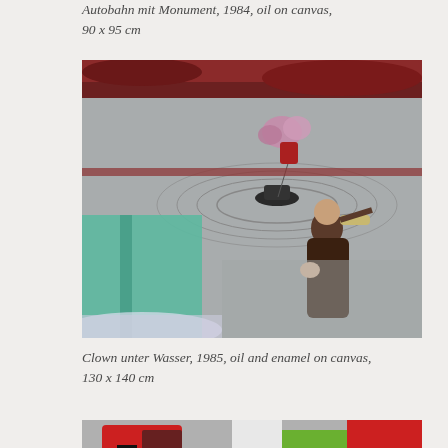Autobahn mit Monument, 1984, oil on canvas, 90 x 95 cm
[Figure (photo): Painting titled 'Clown unter Wasser' showing a figure in dark clothing playing violin, with teal-green legs visible on the left, red streaks and pink flowers in the upper background, against a grey atmospheric landscape]
Clown unter Wasser, 1985, oil and enamel on canvas, 130 x 140 cm
[Figure (photo): Partial view of another painting at bottom of page showing colorful abstract forms with red, green and white elements]